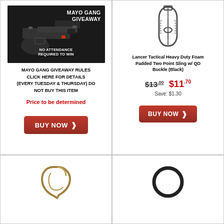[Figure (photo): Mayo Gang Giveaway promotional image showing a handgun with text 'MAYO GANG GIVEAWAY' and 'NO ATTENDANCE REQUIRED TO WIN']
MAYO GANG GIVEAWAY RULES CLICK HERE FOR DETAILS (Every Tuesday & Thursday) DO NOT BUY THIS ITEM
Price to be determined
BUY NOW ❯
[Figure (photo): Lancer Tactical Heavy Duty Foam Padded Two Point Sling w/ QD Buckle (Black) product image]
Lancer Tactical Heavy Duty Foam Padded Two Point Sling w/ QD Buckle (Black)
$13.00  $11.70  Save: $1.30
BUY NOW ❯
[Figure (photo): Tan/coyote colored sling hardware clip product image (bottom left)]
[Figure (photo): Black ring/clip hardware product image (bottom right)]